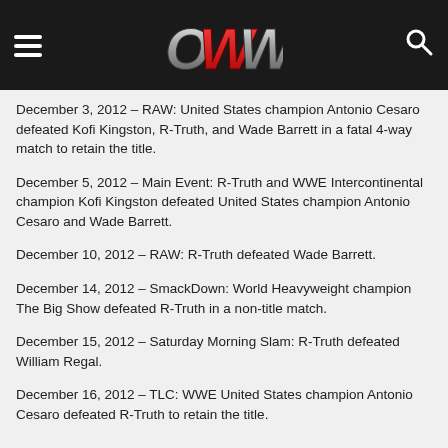OWW
December 3, 2012 – RAW: United States champion Antonio Cesaro defeated Kofi Kingston, R-Truth, and Wade Barrett in a fatal 4-way match to retain the title.
December 5, 2012 – Main Event: R-Truth and WWE Intercontinental champion Kofi Kingston defeated United States champion Antonio Cesaro and Wade Barrett.
December 10, 2012 – RAW: R-Truth defeated Wade Barrett.
December 14, 2012 – SmackDown: World Heavyweight champion The Big Show defeated R-Truth in a non-title match.
December 15, 2012 – Saturday Morning Slam: R-Truth defeated William Regal.
December 16, 2012 – TLC: WWE United States champion Antonio Cesaro defeated R-Truth to retain the title.